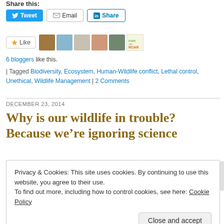Share this:
Tweet  Email  Share
[Figure (other): Social media share buttons: Tweet (blue Twitter button), Email (grey button with envelope icon), Share (LinkedIn blue outlined button)]
[Figure (other): Like button and avatar strip showing 6 blogger profile pictures and Purr the Roar logo]
6 bloggers like this.
| Tagged Biodiversity, Ecosystem, Human-Wildlife conflict, Lethal control, Unethical, Wildlife Management | 2 Comments
DECEMBER 23, 2014
Why is our wildlife in trouble? Because we’re ignoring science
Privacy & Cookies: This site uses cookies. By continuing to use this website, you agree to their use.
To find out more, including how to control cookies, see here: Cookie Policy
Close and accept